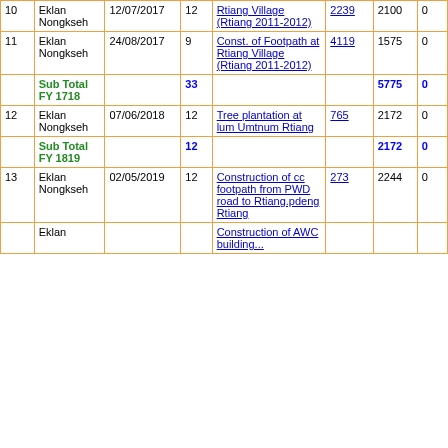| # | Village | Date | Days | Work | MB No. | Amount | Penalty |
| --- | --- | --- | --- | --- | --- | --- | --- |
| 10 | Eklan Nongkseh | 12/07/2017 | 12 | Rtiang Village (Rtiang 2011-2012) | 2239 | 2100 | 0 |
| 11 | Eklan Nongkseh | 24/08/2017 | 9 | Const. of Footpath at Rtiang Village (Rtiang 2011-2012) | 4119 | 1575 | 0 |
| Sub Total FY 1718 |  |  | 33 |  |  | 5775 | 0 |
| 12 | Eklan Nongkseh | 07/06/2018 | 12 | Tree plantation at lum Umtnum Rtiang | 765 | 2172 | 0 |
| Sub Total FY 1819 |  |  | 12 |  |  | 2172 | 0 |
| 13 | Eklan Nongkseh | 02/05/2019 | 12 | Construction of cc footpath from PWD road to Rtiang.pdeng Rtiang | 273 | 2244 | 0 |
| 14 | Eklan ... |  |  | Construction of AWC building... |  |  |  |